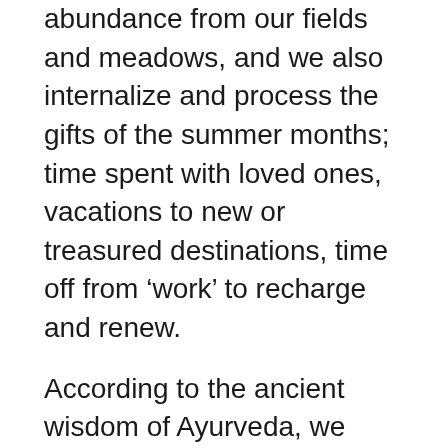abundance from our fields and meadows, and we also internalize and process the gifts of the summer months; time spent with loved ones, vacations to new or treasured destinations, time off from 'work' to recharge and renew.
According to the ancient wisdom of Ayurveda, we also begin to move into Vata (air + ether) Season, which we can start to see manifesting outwardly and inwardly, as the wind picks up, and both the leaves and our own thoughts begin to whirl, and the temperature drops. This is a time for nourishing and grounding foods to balance this energy, and we have a beautiful article from the archive from the wondrous Pratibha down at MMC who provides an easy guide to spices which will help us stoke our agni (digestive fire) to help keep us warm and cozy as we move into the fall